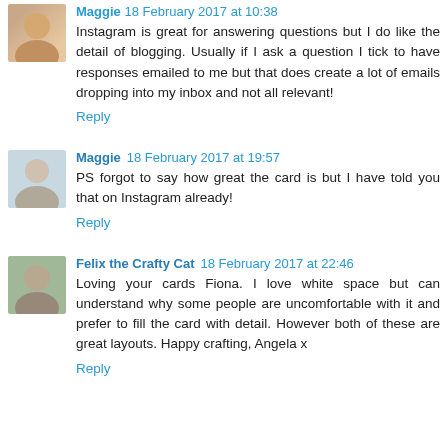Instagram is great for answering questions but I do like the detail of blogging. Usually if I ask a question I tick to have responses emailed to me but that does create a lot of emails dropping into my inbox and not all relevant!
Reply
Maggie 18 February 2017 at 19:57
PS forgot to say how great the card is but I have told you that on Instagram already!
Reply
Felix the Crafty Cat 18 February 2017 at 22:46
Loving your cards Fiona. I love white space but can understand why some people are uncomfortable with it and prefer to fill the card with detail. However both of these are great layouts. Happy crafting, Angela x
Reply